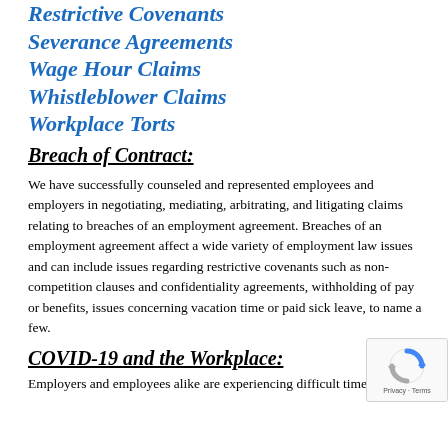Restrictive Covenants
Severance Agreements
Wage Hour Claims
Whistleblower Claims
Workplace Torts
Breach of Contract:
We have successfully counseled and represented employees and employers in negotiating, mediating, arbitrating, and litigating claims relating to breaches of an employment agreement. Breaches of an employment agreement affect a wide variety of employment law issues and can include issues regarding restrictive covenants such as non-competition clauses and confidentiality agreements, withholding of pay or benefits, issues concerning vacation time or paid sick leave, to name a few.
COVID-19 and the Workplace:
Employers and employees alike are experiencing difficult times due to